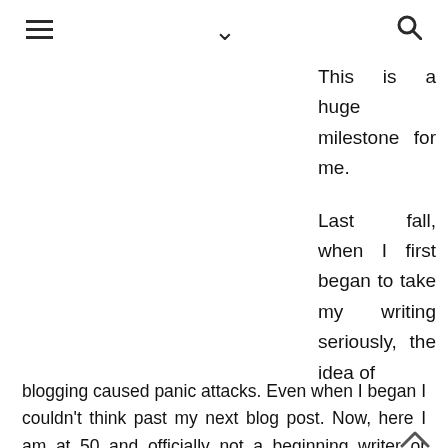☰  ∨  🔍
This is a huge milestone for me.
Last fall, when I first began to take my writing seriously, the idea of blogging caused panic attacks. Even when I began I couldn't think past my next blog post. Now, here I am at 50 and officially not a beginning writer or blogger any longer. Here's to many more posts. I've enjoyed the experience